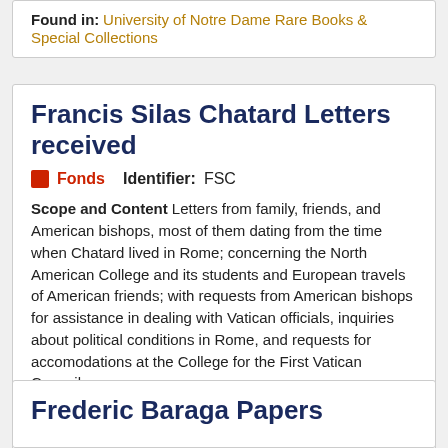Found in: University of Notre Dame Rare Books & Special Collections
Francis Silas Chatard Letters received
Fonds  Identifier: FSC
Scope and Content Letters from family, friends, and American bishops, most of them dating from the time when Chatard lived in Rome; concerning the North American College and its students and European travels of American friends; with requests from American bishops for assistance in dealing with Vatican officials, inquiries about political conditions in Rome, and requests for accomodations at the College for the First Vatican Council.
Dates: 1855-1912 (bulk 1855-1875).
Found in: University of Notre Dame Archives
Frederic Baraga Papers